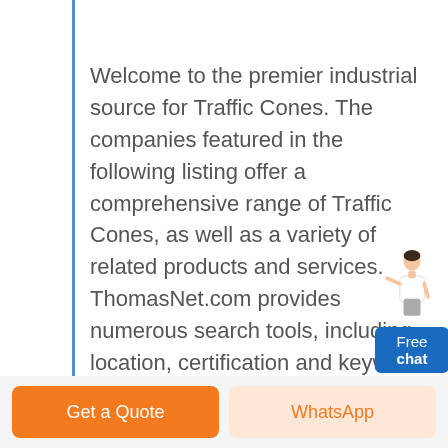Welcome to the premier industrial source for Traffic Cones. The companies featured in the following listing offer a comprehensive range of Traffic Cones, as well as a variety of related products and services. ThomasNet.com provides numerous search tools, including location, certification and keyword filters, to help you refine your results. For additional company and contact information ...
[Figure (illustration): A customer service representative figure (woman in white jacket) next to a blue 'Free chat' button widget in the upper right area]
Get a Quote
WhatsApp